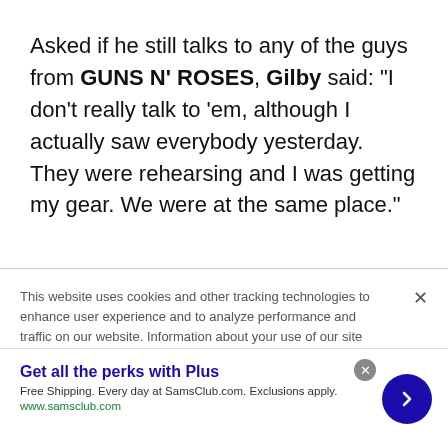Asked if he still talks to any of the guys from GUNS N' ROSES, Gilby said: "I don't really talk to 'em, although I actually saw everybody yesterday. They were rehearsing and I was getting my gear. We were at the same place."
Clarke confirmed that his chance encounter
This website uses cookies and other tracking technologies to enhance user experience and to analyze performance and traffic on our website. Information about your use of our site may also be shared with social media, advertising, retail and analytics providers and partners. Privacy Policy
Get all the perks with Plus
Free Shipping. Every day at SamsClub.com. Exclusions apply.
www.samsclub.com